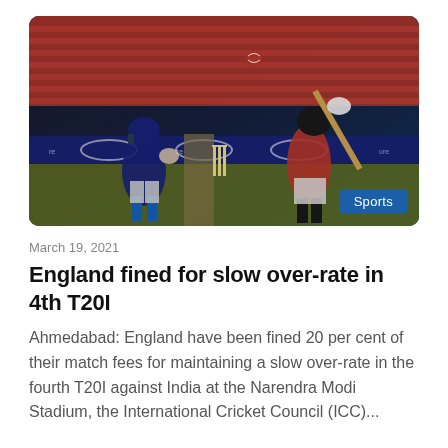[Figure (photo): Cricket match photo showing an England batsman in red kit playing a shot while an Indian wicket-keeper in blue kit watches. Orange stadium seats visible in background. A 'Sports' badge overlaid in bottom right corner.]
March 19, 2021
England fined for slow over-rate in 4th T20I
Ahmedabad: England have been fined 20 per cent of their match fees for maintaining a slow over-rate in the fourth T20I against India at the Narendra Modi Stadium, the International Cricket Council (ICC)...